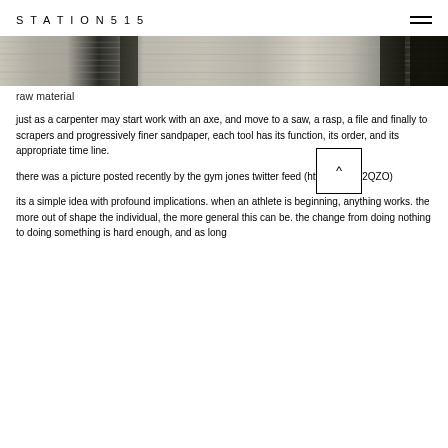STATION515
[Figure (photo): Close-up grayscale photograph of raw wood grain texture, showing horizontal fiber patterns with dark streaks]
raw material
just as a carpenter may start work with an axe, and move to a saw, a rasp, a file and finally to scrapers and progressively finer sandpaper, each tool has its function, its order, and its appropriate time line.
there was a picture posted recently by the gym jones twitter feed (http://ow.ly/i/2QZO)
its a simple idea with profound implications. when an athlete is beginning, anything works. the more out of shape the individual, the more general this can be. the change from doing nothing to doing something is hard enough, and as long